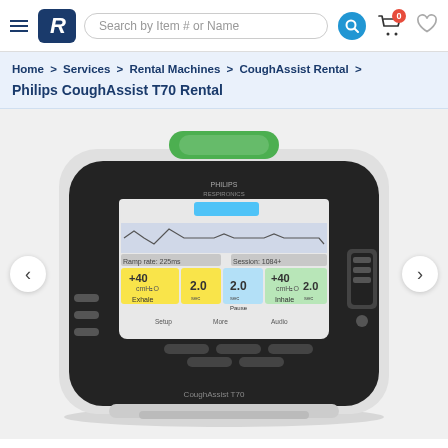Search by Item # or Name
Home > Services > Rental Machines > CoughAssist Rental > Philips CoughAssist T70 Rental
[Figure (photo): Philips CoughAssist T70 medical device with green handle, black rounded-rectangular body, color touchscreen display showing pressure and flow settings including Exhale, Pause, Inhale labels, and control buttons. Previous/Next navigation arrows on left and right sides.]